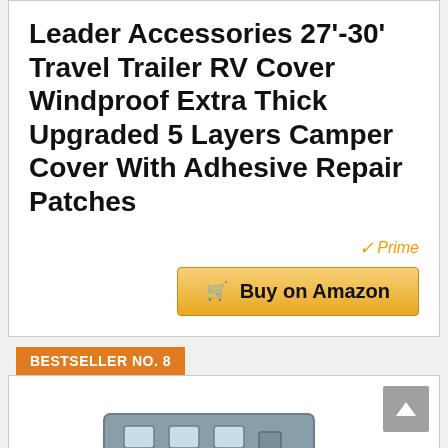Leader Accessories 27'-30' Travel Trailer RV Cover Windproof Extra Thick Upgraded 5 Layers Camper Cover With Adhesive Repair Patches
[Figure (logo): Amazon Prime badge with orange checkmark and blue 'Prime' text]
[Figure (other): Golden 'Buy on Amazon' button with shopping cart icon]
BESTSELLER NO. 8
[Figure (illustration): Partial illustration of a travel trailer RV at the bottom of the page]